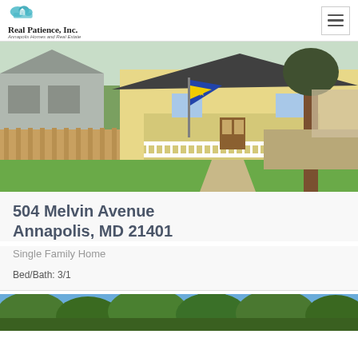Real Patience, Inc. — Annapolis Homes and Real Estate
[Figure (photo): Exterior photo of a single-family home at 504 Melvin Avenue, Annapolis, MD. Yellow house with white porch railing, American flag, green lawn, wooden fence, large tree to the right.]
504 Melvin Avenue Annapolis, MD 21401
Single Family Home
Bed/Bath: 3/1
[Figure (photo): Partially visible exterior photo showing trees and blue sky at bottom of page.]